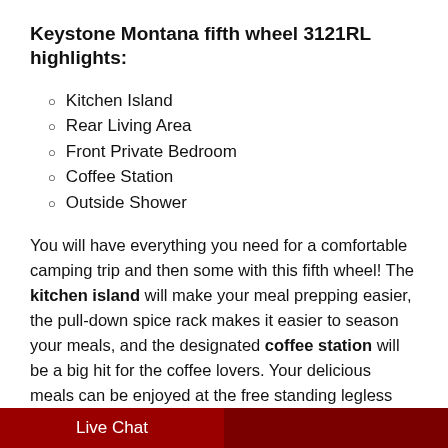Keystone Montana fifth wheel 3121RL highlights:
Kitchen Island
Rear Living Area
Front Private Bedroom
Coffee Station
Outside Shower
You will have everything you need for a comfortable camping trip and then some with this fifth wheel! The kitchen island will make your meal prepping easier, the pull-down spice rack makes it easier to season your meals, and the designated coffee station will be a big hit for the coffee lovers. Your delicious meals can be enjoyed at the free standing legless dinette
Live Chat